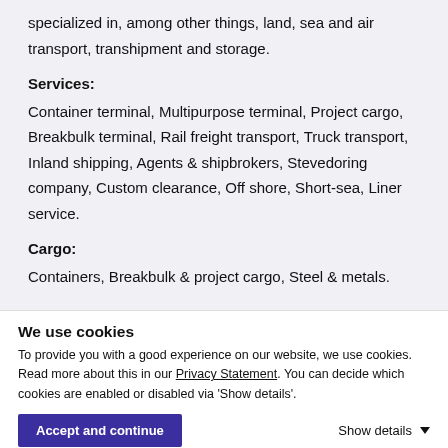specialized in, among other things, land, sea and air transport, transhipment and storage.
Services:
Container terminal, Multipurpose terminal, Project cargo, Breakbulk terminal, Rail freight transport, Truck transport, Inland shipping, Agents & shipbrokers, Stevedoring company, Custom clearance, Off shore, Short-sea, Liner service.
Cargo:
Containers, Breakbulk & project cargo, Steel & metals.
We use cookies
To provide you with a good experience on our website, we use cookies. Read more about this in our Privacy Statement. You can decide which cookies are enabled or disabled via 'Show details'.
Accept and continue
Show details